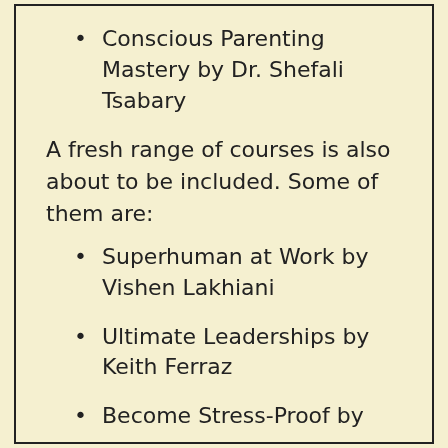Conscious Parenting Mastery by Dr. Shefali Tsabary
A fresh range of courses is also about to be included. Some of them are:
Superhuman at Work by Vishen Lakhiani
Ultimate Leaderships by Keith Ferraz
Become Stress-Proof by Paul McKenna
10X Fitness by Lorenzo Delano
Energies of Love by Donna Eden
Integral Theory by Ken Wilber